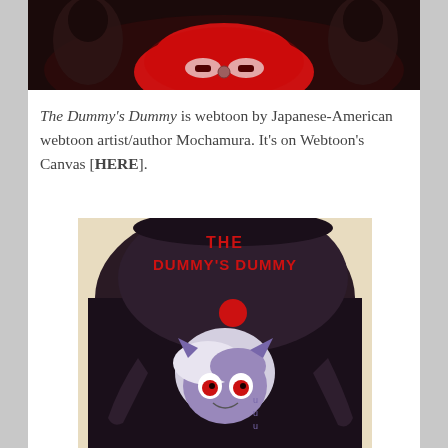[Figure (illustration): Top portion of a webtoon panel showing dark anime-style artwork with a large red character and shadowy figures in background]
The Dummy's Dummy is webtoon by Japanese-American webtoon artist/author Mochamura. It's on Webtoon's Canvas [HERE].
[Figure (illustration): Cover art for 'The Dummy's Dummy' webtoon showing a large dark puppet/dummy figure looming over a smaller purple-haired anime character with red eyes. Title text 'THE DUMMY'S DUMMY' is displayed in red bold letters at the top.]